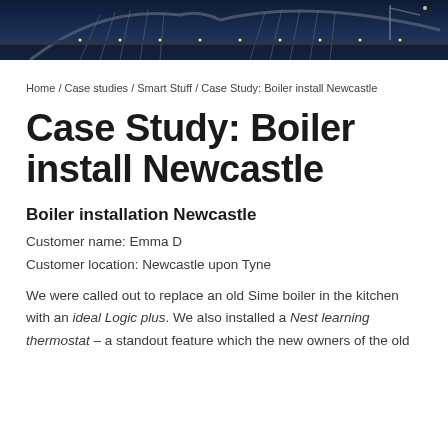[Figure (photo): Aerial/twilight photo of a bridge structure over water, likely the Tyne Bridge in Newcastle, with lights and steel arch visible against a dark blue sky.]
Home / Case studies / Smart Stuff / Case Study: Boiler install Newcastle
Case Study: Boiler install Newcastle
Boiler installation Newcastle
Customer name: Emma D
Customer location: Newcastle upon Tyne
We were called out to replace an old Sime boiler in the kitchen with an ideal Logic plus. We also installed a Nest learning thermostat – a standout feature which the new owners of the old...